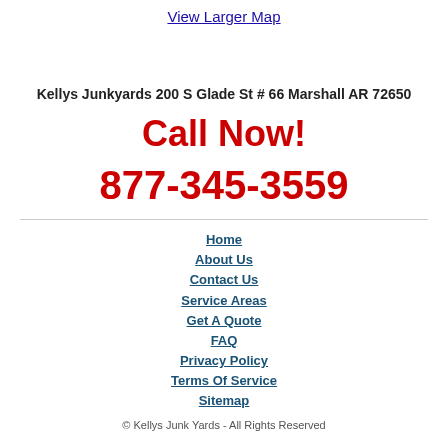View Larger Map
Kellys Junkyards 200 S Glade St # 66 Marshall AR 72650
Call Now!
877-345-3559
Home
About Us
Contact Us
Service Areas
Get A Quote
FAQ
Privacy Policy
Terms Of Service
Sitemap
© Kellys Junk Yards - All Rights Reserved